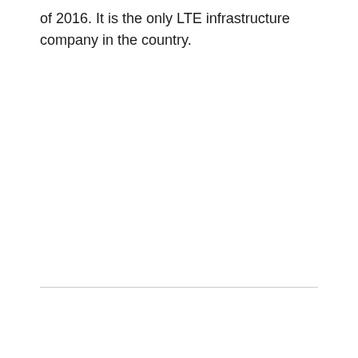of 2016. It is the only LTE infrastructure company in the country.